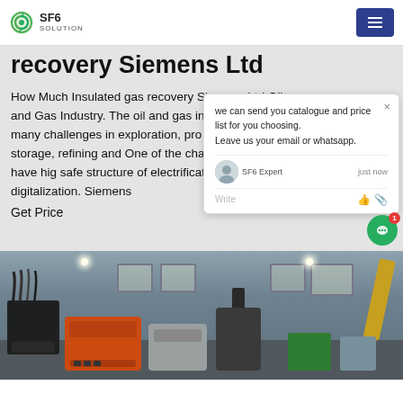SF6 SOLUTION
recovery Siemens Ltd
How Much Insulated gas recovery Siemens Ltd Oil and Gas Industry. The oil and gas industry face many challenges in exploration, pro transportation, storage, refining and One of the challenges is to have hig safe structure of electrification, auto digitalization. Siemens
Get Price
[Figure (screenshot): Chat popup overlay showing: 'we can send you catalogue and price list for you choosing. Leave us your email or whatsapp.' with SF6 Expert label showing 'just now', and a write/reply area below.]
[Figure (photo): Industrial facility interior showing SF6 gas recovery equipment — orange, gray, black and green machinery units with cables in a warehouse-like setting with windows in background.]